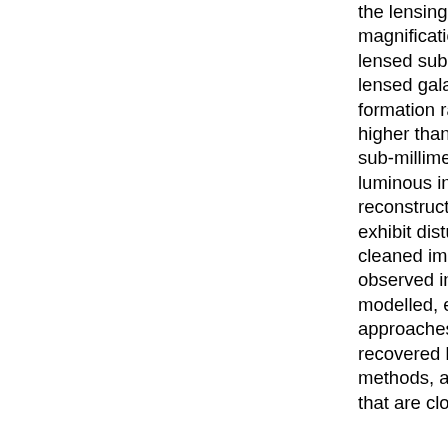the lensing galaxies and, by determining magnification factors, intrinsic properties of the lensed sub-millimetre sources. We find that the lensed galaxies all have high ratios of star formation rate to dust mass, consistent with or higher than the mean ratio for high redshift sub-millimetre galaxies and low redshift ultra-luminous infra-red galaxies. Source reconstruction reveals that most galaxies exhibit disturbed morphologies. Both the cleaned image plane data and the directly observed interferometric visibilities have been modelled, enabling comparison of both approaches. In the majority of cases, the recovered lens models are consistent between methods, all six having mass density profiles that are close to isothermal. However, one